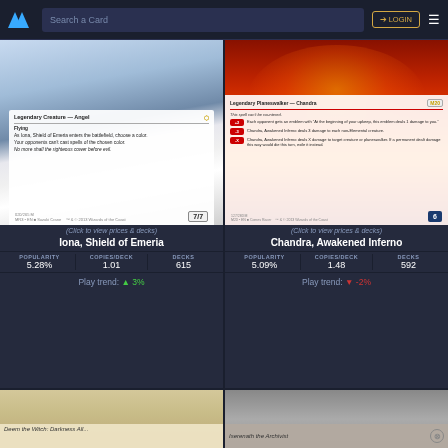Search a Card | LOGIN
[Figure (photo): Iona, Shield of Emeria MTG card - Legendary Creature Angel, Flying ability, 7/7 power/toughness]
(Click to view prices & decks)
Iona, Shield of Emeria
| POPULARITY | COPIES/DECK | DECKS |
| --- | --- | --- |
| 5.28% | 1.01 | 615 |
Play trend: ▲ 3%
[Figure (photo): Chandra, Awakened Inferno MTG card - Legendary Planeswalker Chandra M20, loyalty 6]
(Click to view prices & decks)
Chandra, Awakened Inferno
| POPULARITY | COPIES/DECK | DECKS |
| --- | --- | --- |
| 5.09% | 1.48 | 592 |
Play trend: ▼ -2%
[Figure (photo): Partially visible MTG card at bottom left]
[Figure (photo): Partially visible MTG card at bottom right with X close button]